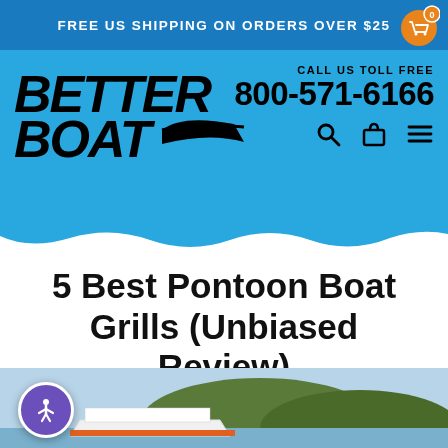FREE US SHIPPING ON ORDERS OVER $25
[Figure (logo): Better Boat logo with stylized italic bold text and a wave/boat swoosh graphic]
CALL US TOLL FREE 800-571-6166
5 Best Pontoon Boat Grills (Unbiased Review)
March 03, 2015
[Figure (photo): Partial photo showing a pontoon boat on water with green hills in the background]